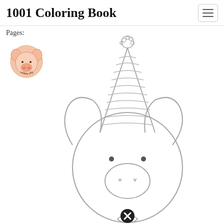1001 Coloring Book
Pages:
[Figure (logo): Wibbly Pig logo — a pink cartoon pig face icon with text 'wibbly pig' in circular arrangement]
[Figure (illustration): Coloring book line drawing of a cute cartoon pig wearing a party hat with pom-pom and a bow tie, viewed from the front. The pig has large round ears, small dot eyes, a round snout with nostrils, and is wearing a tall striped conical party hat. A close button (X icon) appears near the bottom of the image.]